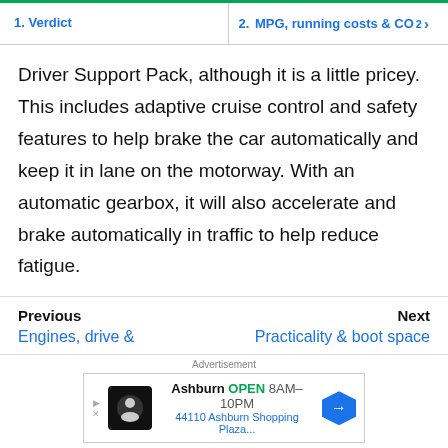1. Verdict | 2. MPG, running costs & CO2 >
Driver Support Pack, although it is a little pricey. This includes adaptive cruise control and safety features to help brake the car automatically and keep it in lane on the motorway. With an automatic gearbox, it will also accelerate and brake automatically in traffic to help reduce fatigue.
Previous | Next
Engines, drive & | Practicality & boot space
Advertisement
Ashburn OPEN 8AM–10PM 44110 Ashburn Shopping Plaza...